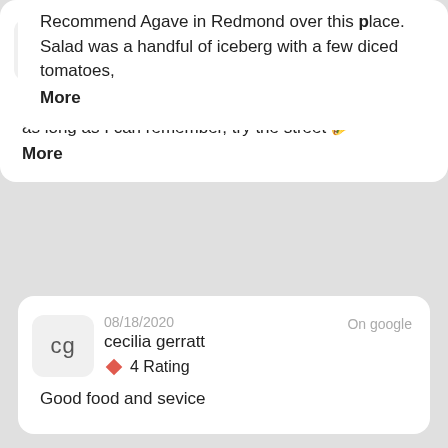Recommend Agave in Redmond over this place. Salad was a handful of iceberg with a few diced tomatoes, More
08/18/2020  On google
Cj Vick
5 Rating
Always great service and food! Been coming here for as long as I can remember, try the street 🌮 More
08/18/2020  On google
cecilia gerratt
4 Rating
Good food and sevice